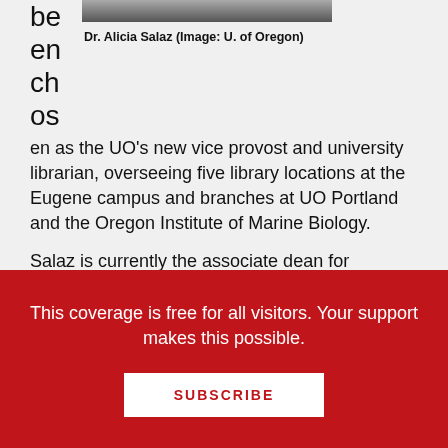[Figure (photo): Photo of Dr. Alicia Salaz at top of page]
Dr. Alicia Salaz (Image: U. of Oregon)
been chosen as the UO's new vice provost and university librarian, overseeing five library locations at the Eugene campus and branches at UO Portland and the Oregon Institute of Marine Biology.
Salaz is currently the associate dean for research and academic services and senior librarian for Carnegie Mellon University Libraries, a position she has held since 2018.
She will start her new position in June.
This coverage is free for all visitors. Your support makes this possible.
SUBSCRIBE